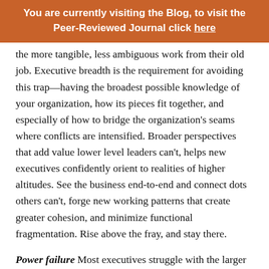You are currently visiting the Blog, to visit the Peer-Reviewed Journal click here
the more tangible, less ambiguous work from their old job. Executive breadth is the requirement for avoiding this trap—having the broadest possible knowledge of your organization, how its pieces fit together, and especially of how to bridge the organization's seams where conflicts are intensified. Broader perspectives that add value lower level leaders can't, helps new executives confidently orient to realities of higher altitudes. See the business end-to-end and connect dots others can't, forge new working patterns that create greater cohesion, and minimize functional fragmentation. Rise above the fray, and stay there.
Power failure Most executives struggle with the larger sphere of positional, informational, and relational power afforded them by bigger jobs. While tabloids are filled with leaders who abuse that power with indulgent self-interest, the more common power failure is abdication. Executives are so fearful of wielding power